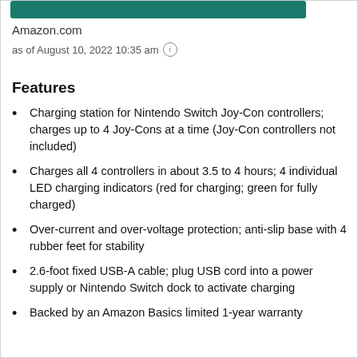[Figure (other): Teal/green decorative bar at top of page]
Amazon.com
as of August 10, 2022 10:35 am (i)
Features
Charging station for Nintendo Switch Joy-Con controllers; charges up to 4 Joy-Cons at a time (Joy-Con controllers not included)
Charges all 4 controllers in about 3.5 to 4 hours; 4 individual LED charging indicators (red for charging; green for fully charged)
Over-current and over-voltage protection; anti-slip base with 4 rubber feet for stability
2.6-foot fixed USB-A cable; plug USB cord into a power supply or Nintendo Switch dock to activate charging
Backed by an Amazon Basics limited 1-year warranty